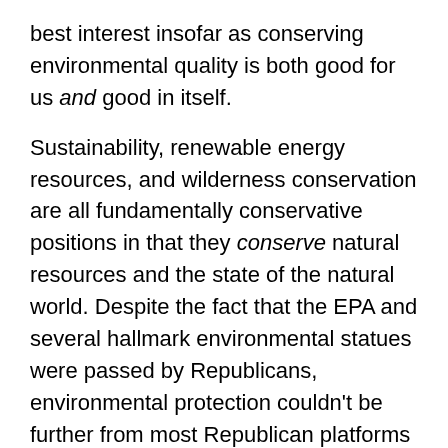best interest insofar as conserving environmental quality is both good for us and good in itself.
Sustainability, renewable energy resources, and wilderness conservation are all fundamentally conservative positions in that they conserve natural resources and the state of the natural world. Despite the fact that the EPA and several hallmark environmental statues were passed by Republicans, environmental protection couldn't be further from most Republican platforms today. The problem is that many of today's Republicans talk as if being pro-environment is synonymous with being anti-business or anti-economy.
In reality, even command-and-control environmental regulation incentivizes innovation and ultimately conserves the very natural resources upon which business builds